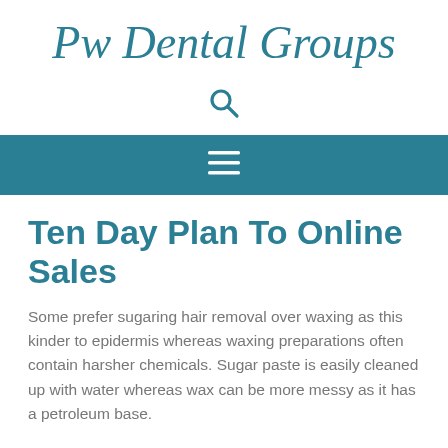Pw Dental Groups
[Figure (other): Search icon (magnifying glass)]
[Figure (other): Navigation bar with hamburger menu icon on teal background]
Ten Day Plan To Online Sales
Some prefer sugaring hair removal over waxing as this kinder to epidermis whereas waxing preparations often contain harsher chemicals. Sugar paste is easily cleaned up with water whereas wax can be more messy as it has a petroleum base.